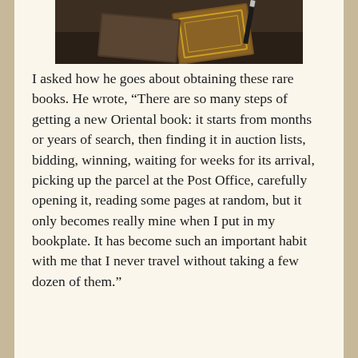[Figure (photo): A photograph of old books/leather-bound volumes on a dark wooden surface, partially visible at the top of the page.]
I asked how he goes about obtaining these rare books. He wrote, “There are so many steps of getting a new Oriental book: it starts from months or years of search, then finding it in auction lists, bidding, winning, waiting for weeks for its arrival, picking up the parcel at the Post Office, carefully opening it, reading some pages at random, but it only becomes really mine when I put in my bookplate. It has become such an important habit with me that I never travel without taking a few dozen of them.”